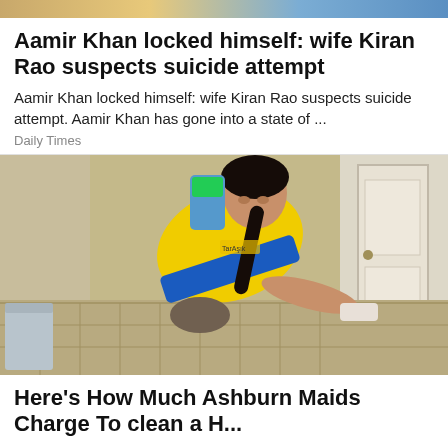[Figure (photo): Partial top image strip with colorful banner at very top of page]
Aamir Khan locked himself: wife Kiran Rao suspects suicide attempt
Aamir Khan locked himself: wife Kiran Rao suspects suicide attempt. Aamir Khan has gone into a state of ...
Daily Times
[Figure (photo): Woman in yellow uniform shirt and blue apron cleaning a hardwood floor, kneeling and wiping with a cloth inside a home]
Here's How Much Ashburn Maids Charge To clean a H...